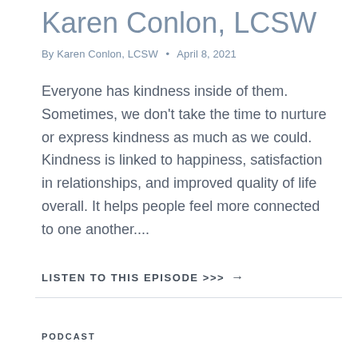Karen Conlon, LCSW
By Karen Conlon, LCSW • April 8, 2021
Everyone has kindness inside of them. Sometimes, we don't take the time to nurture or express kindness as much as we could. Kindness is linked to happiness, satisfaction in relationships, and improved quality of life overall. It helps people feel more connected to one another....
LISTEN TO THIS EPISODE >>> →
PODCAST